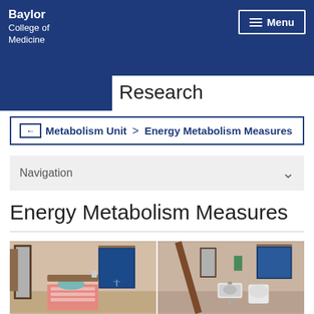Baylor College of Medicine
Research
Metabolism Unit > Energy Metabolism Measures
Navigation
Energy Metabolism Measures
[Figure (photo): Two side-by-side photos of metabolic research unit rooms. Left photo shows a hospital-style room with a bed with red and white patterned bedding, a teal pillow, a full-length mirror on the wall, and a blue ocean/pier artwork on the wall. Right photo shows a bathroom with a sink, toilet, mirror, and similar blue ocean artwork on the wall.]